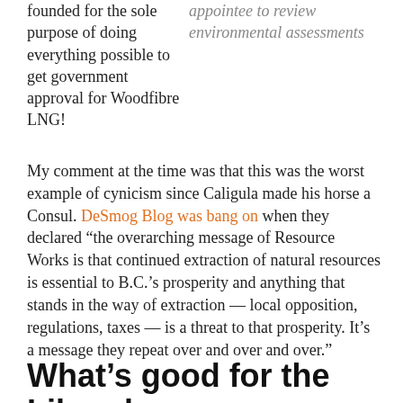founded for the sole purpose of doing everything possible to get government approval for Woodfibre LNG!
appointee to review environmental assessments
My comment at the time was that this was the worst example of cynicism since Caligula made his horse a Consul. DeSmog Blog was bang on when they declared “the overarching message of Resource Works is that continued extraction of natural resources is essential to B.C.’s prosperity and anything that stands in the way of extraction — local opposition, regulations, taxes — is a threat to that prosperity. It’s a message they repeat over and over and over.”
What’s good for the Liberal